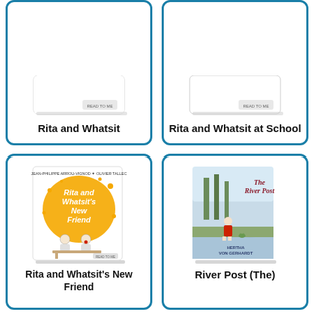[Figure (illustration): Book cover for 'Rita and Whatsit' - partially cropped at top]
Rita and Whatsit
[Figure (illustration): Book cover for 'Rita and Whatsit at School' - partially cropped at top]
Rita and Whatsit at School
[Figure (illustration): Book cover for 'Rita and Whatsit's New Friend' showing two children on a bench with orange splatter title text]
Rita and Whatsit's New Friend
[Figure (illustration): Book cover for 'River Post (The)' by Hertha Von Gerhardt showing a girl in red dress near river]
River Post (The)
[Figure (illustration): Book cover partially visible at bottom - 'Rubber Hopsika']
[Figure (illustration): Book cover partially visible at bottom - 'Roberto and Me']